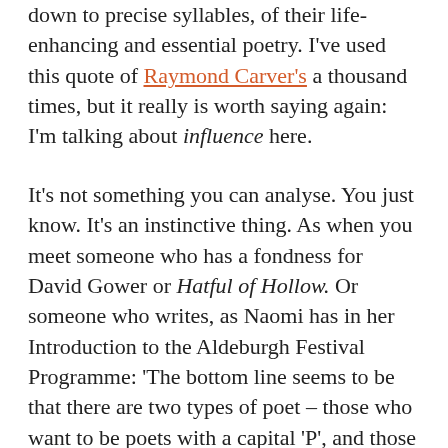down to precise syllables, of their life-enhancing and essential poetry. I've used this quote of Raymond Carver's a thousand times, but it really is worth saying again: I'm talking about influence here.
It's not something you can analyse. You just know. It's an instinctive thing. As when you meet someone who has a fondness for David Gower or Hatful of Hollow. Or someone who writes, as Naomi has in her Introduction to the Aldeburgh Festival Programme: 'The bottom line seems to be that there are two types of poet – those who want to be poets with a capital 'P', and those who have something they have to say and can't find any other way to say it. The latter are the keepers. Because the whole point, surely, is to make discoveries – about ourselves and about the world;